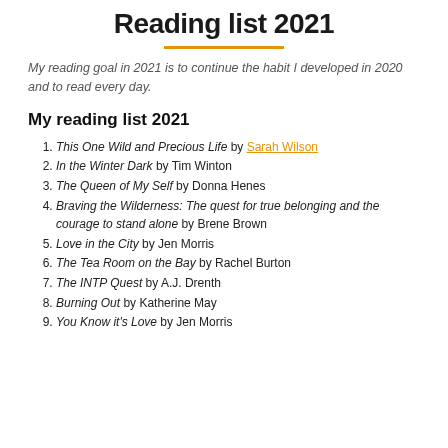Reading list 2021
My reading goal in 2021 is to continue the habit I developed in 2020 and to read every day.
My reading list 2021
This One Wild and Precious Life by Sarah Wilson
In the Winter Dark by Tim Winton
The Queen of My Self by Donna Henes
Braving the Wilderness: The quest for true belonging and the courage to stand alone by Brene Brown
Love in the City by Jen Morris
The Tea Room on the Bay by Rachel Burton
The INTP Quest by A.J. Drenth
Burning Out by Katherine May
You Know it's Love by Jen Morris